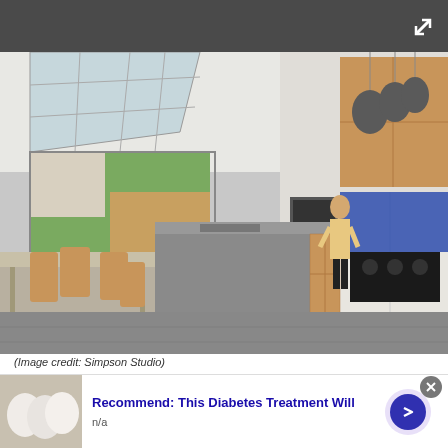[Figure (screenshot): Dark top navigation bar with a fullscreen/expand icon (X arrows) in the top right corner]
[Figure (photo): Modern open-plan kitchen with skylight roof, kitchen island with wooden base shelving, pendant lights, white cabinets, wooden upper cabinets, blue glass splashback, dining table with wooden chairs, and a person standing near bi-fold doors opening to a garden]
(Image credit: Simpson Studio)
[Figure (screenshot): Advertisement banner showing eggs thumbnail image, title 'Recommend: This Diabetes Treatment Will', subtitle 'n/a', a light purple background with a dark blue circular arrow button, and a close X button]